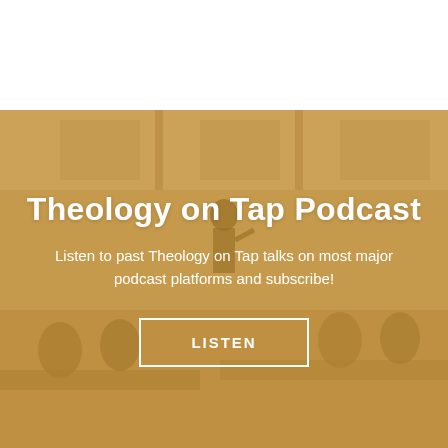[Figure (photo): A golden/amber toned photo of a lecture room with people seated at tables and a presenter standing at the front, overlaid with a warm golden translucent color wash. The upper portion of the page is white.]
Theology on Tap Podcast
Listen to past Theology on Tap talks on most major podcast platforms and subscribe!
LISTEN